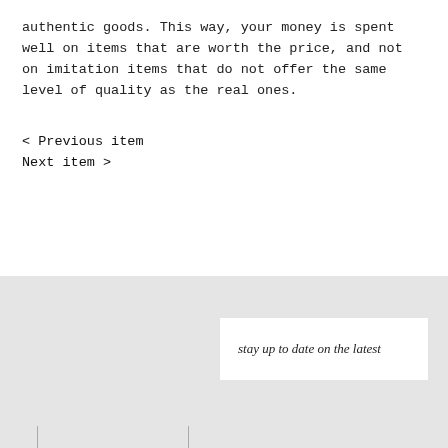authentic goods. This way, your money is spent well on items that are worth the price, and not on imitation items that do not offer the same level of quality as the real ones.
< Previous item
Next item >
stay up to date on the latest